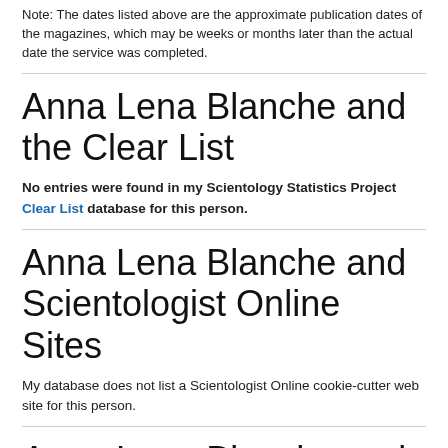Note: The dates listed above are the approximate publication dates of the magazines, which may be weeks or months later than the actual date the service was completed.
Anna Lena Blanche and the Clear List
No entries were found in my Scientology Statistics Project Clear List database for this person.
Anna Lena Blanche and Scientologist Online Sites
My database does not list a Scientologist Online cookie-cutter web site for this person.
Anna Lena Blanche and WISE